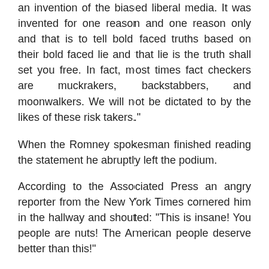an invention of the biased liberal media. It was invented for one reason and one reason only and that is to tell bold faced truths based on their bold faced lie and that lie is the truth shall set you free. In fact, most times fact checkers are muckrakers, backstabbers, and moonwalkers. We will not be dictated to by the likes of these risk takers."
When the Romney spokesman finished reading the statement he abruptly left the podium.
According to the Associated Press an angry reporter from the New York Times cornered him in the hallway and shouted: "This is insane! You people are nuts! The American people deserve better than this!"
According to the report, the spokesman hurried to an elevator and called out nervously,
"I'm late, I'm late for